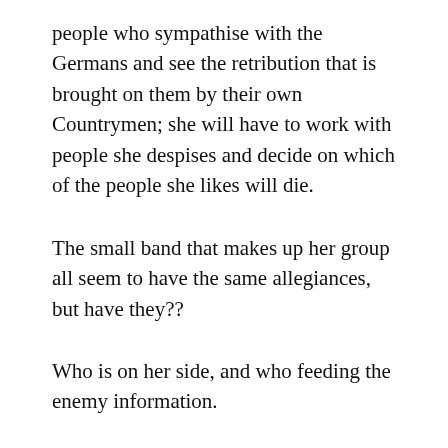people who sympathise with the Germans and see the retribution that is brought on them by their own Countrymen; she will have to work with people she despises and decide on which of the people she likes will die.
The small band that makes up her group all seem to have the same allegiances, but have they??
Who is on her side, and who feeding the enemy information.
As the two stories unfold, the modern day investigation, and the second world war drama, identities are uncovered. Nobody is who they